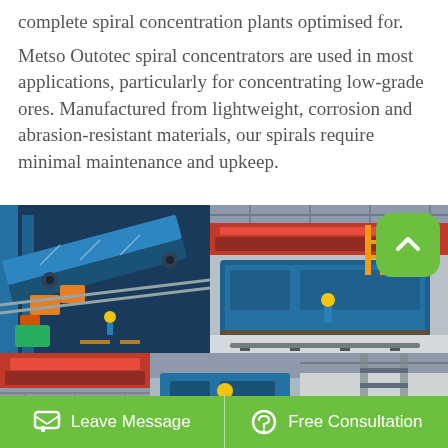complete spiral concentration plants optimised for.
Metso Outotec spiral concentrators are used in most applications, particularly for concentrating low-grade ores. Manufactured from lightweight, corrosion and abrasion-resistant materials, our spirals require minimal maintenance and upkeep.
[Figure (photo): Two industrial photos side by side showing spiral concentrator plant equipment: left photo shows blue conveyor/spiral machinery in a factory; right photo shows large blue industrial equipment in a warehouse with a worker in yellow helmet.]
[Figure (photo): Three smaller industrial photos showing various views of spiral concentrator plant equipment and factory floor.]
Leave Message   Free Consultation